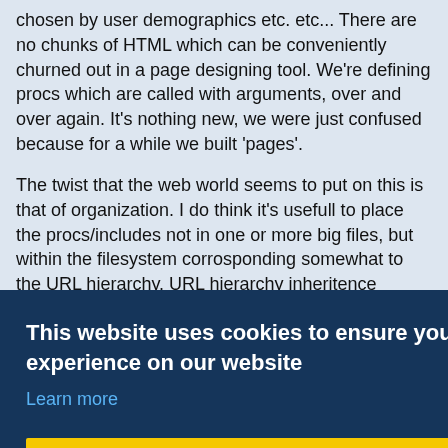chosen by user demographics etc. etc... There are no chunks of HTML which can be conveniently churned out in a page designing tool. We're defining procs which are called with arguments, over and over again. It's nothing new, we were just confused because for a while we built 'pages'.
The twist that the web world seems to put on this is that of organization. I do think it's usefull to place the procs/includes not in one or more big files, but within the filesystem corrosponding somewhat to the URL hierarchy. URL hierarchy inheritence seems more useful than the traditional OO form...
This website uses cookies to ensure you get the best experience on our website
Learn more
Got it!
(Powered by Tcl , Next Scripting , NaviServer 4.99.24 , IPv4)